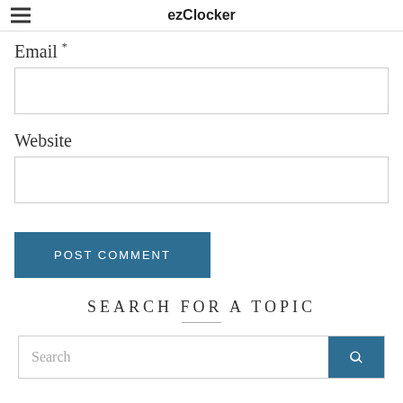ezClocker
Email *
Website
POST COMMENT
SEARCH FOR A TOPIC
Search